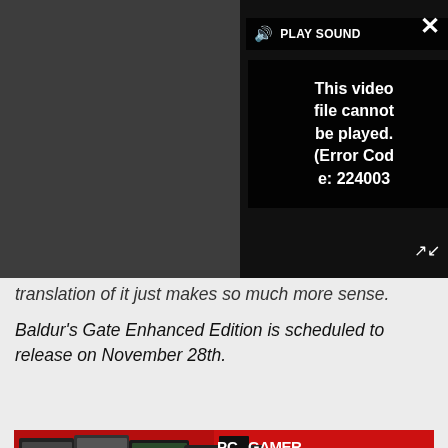[Figure (screenshot): Video player overlay showing error message 'This video file cannot be played. (Error Code: 224003)' with PLAY SOUND button, close X button, and expand arrows on dark grey background]
translation of it just makes so much more sense.
Baldur's Gate Enhanced Edition is scheduled to release on November 28th.
[Figure (photo): PC Gamer advertisement banner: red background with PC Gamer logo and text 'EACH COPY DELIVERED STRAIGHT TO YOUR DOOR' and 'SUBSCRIBE TODAY!']
[Figure (photo): NFL Shop advertisement showing a Dallas Cowboys jersey with text 'NFL Shop', 'Free shipping on orders over $25', 'www.nflshop.com' and a circular arrow button]